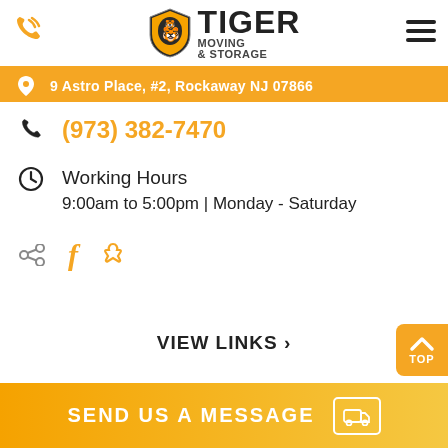[Figure (logo): Tiger Moving & Storage logo with shield emblem, company name, and phone icon on left, hamburger menu on right]
9 Astro Place, #2, Rockaway NJ 07866
(973) 382-7470
Working Hours
9:00am to 5:00pm | Monday - Saturday
[Figure (infographic): Social sharing, Facebook, and Yelp icons in orange]
VIEW LINKS ›
[Figure (infographic): Orange TOP scroll-to-top button in bottom right corner]
SEND US A MESSAGE